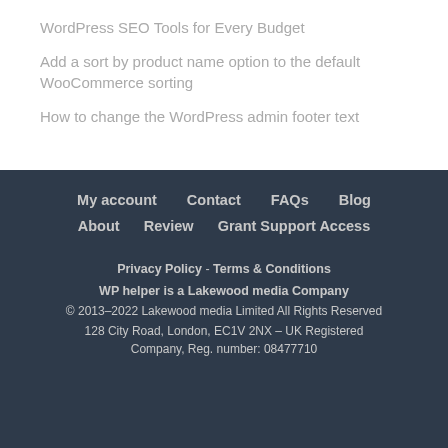WordPress SEO Tools for Every Budget
Add a sort by product name option to the default WooCommerce sorting
How to change the WordPress admin footer text
My account   Contact   FAQs   Blog   About   Review   Grant Support Access
Privacy Policy - Terms & Conditions
WP helper is a Lakewood media Company
© 2013–2022 Lakewood media Limited All Rights Reserved
128 City Road, London, EC1V 2NX – UK Registered Company, Reg. number: 08477710